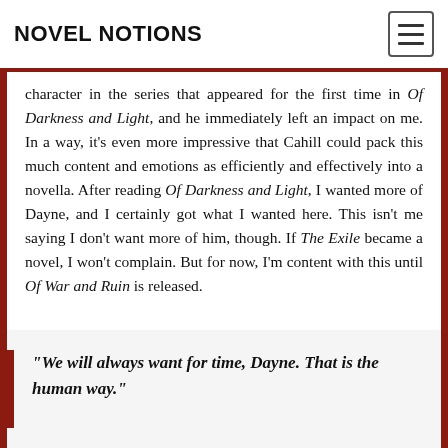NOVEL NOTIONS
character in the series that appeared for the first time in Of Darkness and Light, and he immediately left an impact on me. In a way, it's even more impressive that Cahill could pack this much content and emotions as efficiently and effectively into a novella. After reading Of Darkness and Light, I wanted more of Dayne, and I certainly got what I wanted here. This isn't me saying I don't want more of him, though. If The Exile became a novel, I won't complain. But for now, I'm content with this until Of War and Ruin is released.
“We will always want for time, Dayne. That is the human way.”